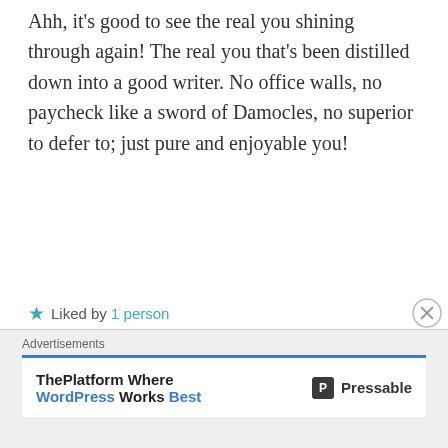Ahh, it's good to see the real you shining through again! The real you that's been distilled down into a good writer. No office walls, no paycheck like a sword of Damocles, no superior to defer to; just pure and enjoyable you!
★ Liked by 1 person
REPLY
Kathy Dahl
JANUARY 8, 2017 AT 7:13 PM
[Figure (illustration): Circular avatar with blue and white geometric diamond/cross pattern]
Advertisements
ThePlatform Where WordPress Works Best — Pressable